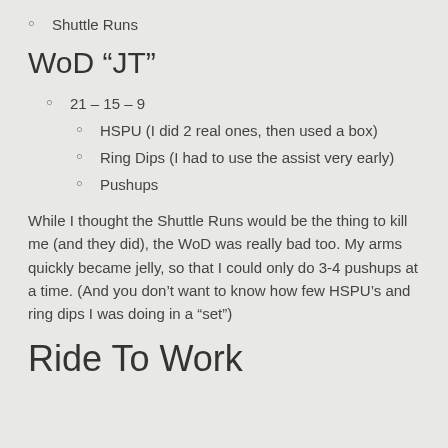Shuttle Runs
WoD “JT”
21 – 15 – 9
HSPU (I did 2 real ones, then used a box)
Ring Dips (I had to use the assist very early)
Pushups
While I thought the Shuttle Runs would be the thing to kill me (and they did), the WoD was really bad too. My arms quickly became jelly, so that I could only do 3-4 pushups at a time. (And you don’t want to know how few HSPU’s and ring dips I was doing in a “set”)
Ride To Work